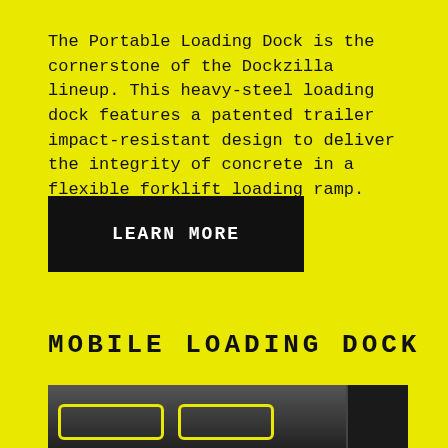The Portable Loading Dock is the cornerstone of the Dockzilla lineup. This heavy-steel loading dock features a patented trailer impact-resistant design to deliver the integrity of concrete in a flexible forklift loading ramp.
LEARN MORE
MOBILE LOADING DOCK
[Figure (photo): Photo of a mobile loading dock product in dark grey/black, with yellow outlined panels visible at the bottom and a tall panel on the right side.]